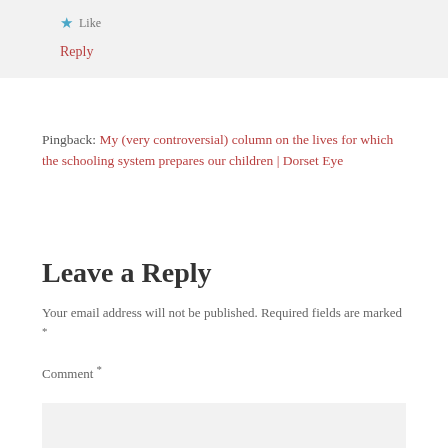★ Like
Reply
Pingback: My (very controversial) column on the lives for which the schooling system prepares our children | Dorset Eye
Leave a Reply
Your email address will not be published. Required fields are marked *
Comment *